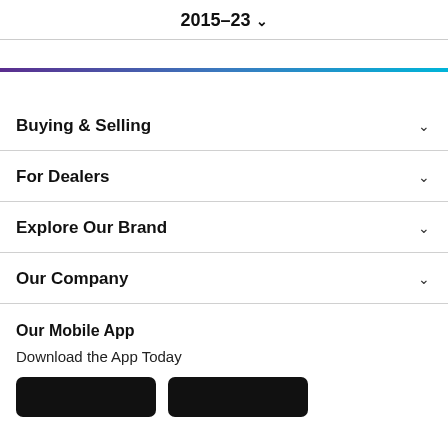2015–23 ∨
Buying & Selling
For Dealers
Explore Our Brand
Our Company
Our Mobile App
Download the App Today